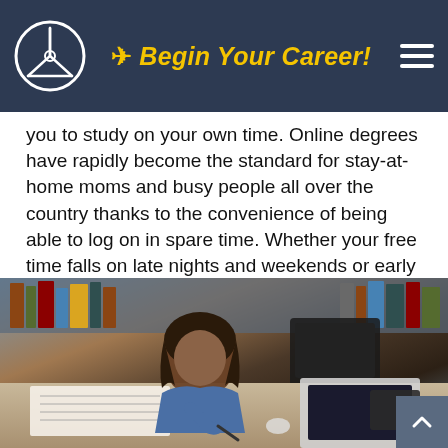Begin Your Career!
you to study on your own time. Online degrees have rapidly become the standard for stay-at-home moms and busy people all over the country thanks to the convenience of being able to log on in spare time. Whether your free time falls on late nights and weekends or early mornings during the week, school waits for you and comes at your pace. Thankfully, online aviation degrees aren't any different from
[Figure (photo): A young woman with curly hair wearing a denim jacket studying at a table, writing in a notebook with a laptop in front of her, in what appears to be a library setting.]